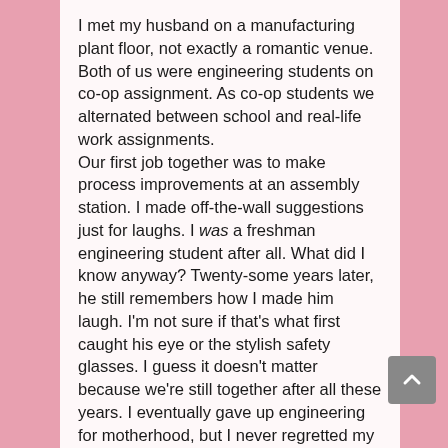I met my husband on a manufacturing plant floor, not exactly a romantic venue. Both of us were engineering students on co-op assignment. As co-op students we alternated between school and real-life work assignments. Our first job together was to make process improvements at an assembly station. I made off-the-wall suggestions just for laughs. I was a freshman engineering student after all. What did I know anyway? Twenty-some years later, he still remembers how I made him laugh. I'm not sure if that's what first caught his eye or the stylish safety glasses. I guess it doesn't matter because we're still together after all these years. I eventually gave up engineering for motherhood, but I never regretted my choice in college majors. If I hadn't studied engineering, I would have never met my husband. My first novel Random Acts, an inspirational romantic suspense, will be released this month.